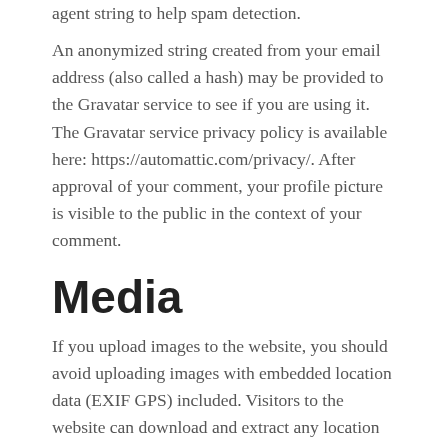agent string to help spam detection.
An anonymized string created from your email address (also called a hash) may be provided to the Gravatar service to see if you are using it. The Gravatar service privacy policy is available here: https://automattic.com/privacy/. After approval of your comment, your profile picture is visible to the public in the context of your comment.
Media
If you upload images to the website, you should avoid uploading images with embedded location data (EXIF GPS) included. Visitors to the website can download and extract any location data from images on the website.